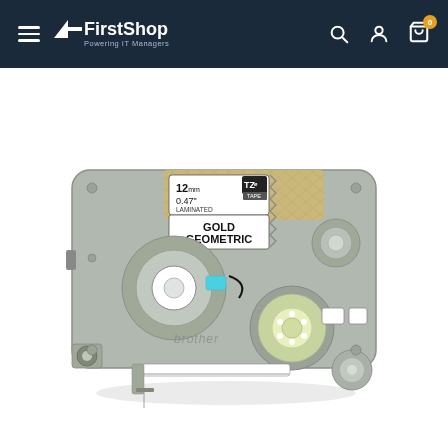FirstShop - Powering IT Managers
[Figure (photo): Brother TZe tape cassette, 12mm / 0.47 inch, laminated, gold geometric pattern, gray plastic housing with blue accent, brand name 'brother' on body, green tape reel visible]